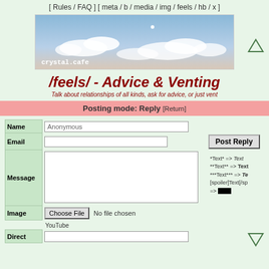[ Rules / FAQ ] [ meta / b / media / img / feels / hb / x ]
[Figure (illustration): Banner image showing a sky with clouds and the text 'crystal.cafe' in white monospace font at bottom left]
/feels/ - Advice & Venting
Talk about relationships of all kinds, ask for advice, or just vent
Posting mode: Reply [Return]
| Name | Anonymous |  |
| Email |  | Post Reply |
| Message |  | *Text* => Text
**Text** => Text
***Text*** => Te
[spoiler]Text[/sp
=> [black box] |
| Image | Choose File  No file chosen |  |
|  | YouTube |  |
| Direct |  |  |